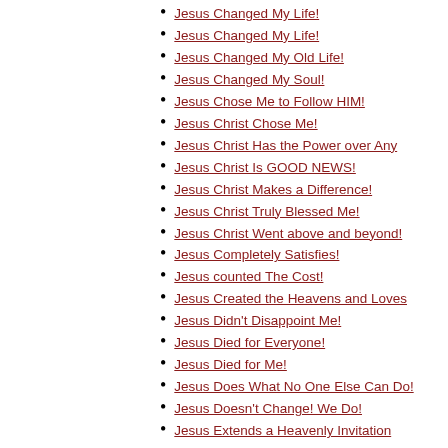Jesus Changed My Life!
Jesus Changed My Life!
Jesus Changed My Old Life!
Jesus Changed My Soul!
Jesus Chose Me to Follow HIM!
Jesus Christ Chose Me!
Jesus Christ Has the Power over Any
Jesus Christ Is GOOD NEWS!
Jesus Christ Makes a Difference!
Jesus Christ Truly Blessed Me!
Jesus Christ Went above and beyond!
Jesus Completely Satisfies!
Jesus counted The Cost!
Jesus Created the Heavens and Loves
Jesus Didn't Disappoint Me!
Jesus Died for Everyone!
Jesus Died for Me!
Jesus Does What No One Else Can Do!
Jesus Doesn't Change! We Do!
Jesus Extends a Heavenly Invitation
Jesus Extends An Invitation!
Jesus Extends An Invitation!
Jesus Extends His Love to YOU!
Jesus Filled Me with His Love!
Jesus Forgave Me Of Everything!
Jesus Forgave Me! Have YOU?
Jesus Found Me!
Jesus Found Me!
Jesus Found Me!
Jesus Fulfills All Our Dreams!